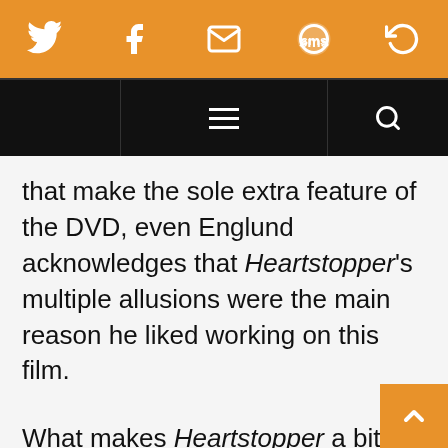[Figure (screenshot): Orange navigation bar with social sharing icons: Twitter bird, Facebook f, envelope/mail, SMS speech bubble, share/refresh icon]
[Figure (screenshot): Black navigation bar with hamburger menu in center and search (magnifying glass) icon on right]
that make the sole extra feature of the DVD, even Englund acknowledges that Heartstopper's multiple allusions were the main reason he liked working on this film.
What makes Heartstopper a bit perplexing is the fact that the exact same version of the film is being released with two different DVD covers. One of them appropriately features a hand squeezing a